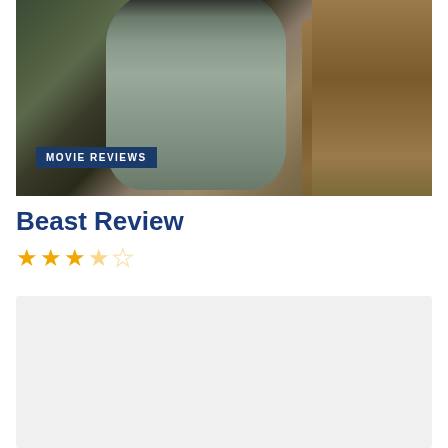[Figure (photo): Movie still showing a person in a light gray/olive button-up shirt standing outdoors in a natural setting with vegetation and rocky terrain in the background. A 'MOVIE REVIEWS' badge overlay appears in the lower left of the image.]
Beast Review
★★★☆☆ (3 out of 5 stars rating)
[Figure (photo): Second image placeholder — light gray background, appears to be another movie still or related image, partially visible at bottom of page.]